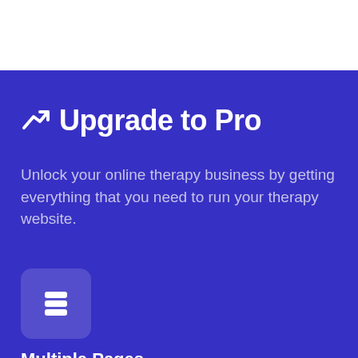Upgrade to Pro
Unlock your online therapy business by getting everything that you need to run your therapy website.
[Figure (illustration): Icon of stacked items / database symbol in a rounded square box on blue background]
Multiple Pages